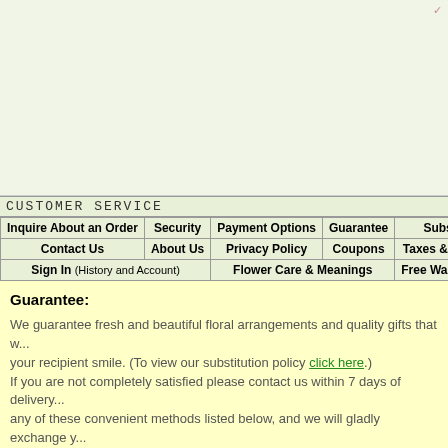[Figure (other): White/light green header banner area at top of webpage]
CUSTOMER SERVICE
| Inquire About an Order | Security | Payment Options | Guarantee | Substitu... |
| --- | --- | --- | --- | --- |
| Contact Us | About Us | Privacy Policy | Coupons | Taxes & Pricing | Free S... |
| Sign In (History and Account) | Flower Care & Meanings | Free Wallpapers | Rem... |
Guarantee:
We guarantee fresh and beautiful floral arrangements and quality gifts that w... your recipient smile. (To view our substitution policy click here.) If you are not completely satisfied please contact us within 7 days of delivery... any of these convenient methods listed below, and we will gladly exchange y... item, so as to rectify the issue.
Call customer service 24 hr per day or email us at service@cookie-gift-baske...
If an item add on like a teddy bear or balloons is not delivered with your flow... for the add on item if we are unable to arrange for it to be delivered separate...
During major holidays such as Valentine's Day and Mother's Day our florists ... are 8am-9pm.